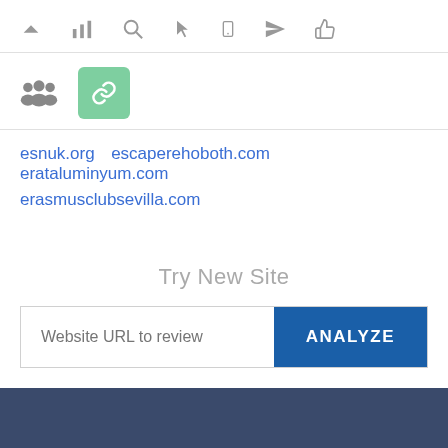[Figure (screenshot): Toolbar row with icons: chevron up, bar chart, search/magnifier, pointer/cursor, mobile phone, paper plane/send, thumbs up]
[Figure (screenshot): Second icon row with a people/group icon and a green rounded square with a link/chain icon]
esnuk.org   escaperehoboth.com   erataluminyum.com   erasmusclubsevilla.com
Try New Site
[Figure (screenshot): Input field with placeholder 'Website URL to review' and blue ANALYZE button]
[Figure (screenshot): Dark navy footer bar at the bottom of the page]